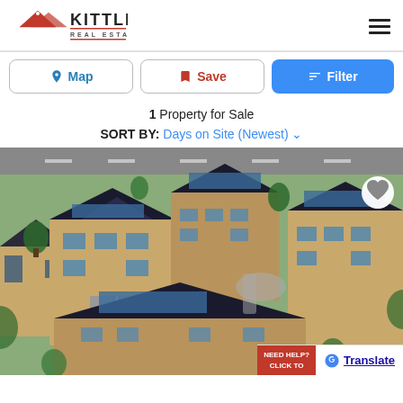KITTLE REAL ESTATE
Map | Save | Filter
1 Property for Sale
SORT BY: Days on Site (Newest)
[Figure (photo): Aerial rendering of a modern residential apartment complex with dark roofs, stone and wood exterior, parking areas, landscaping, and surrounding trees.]
NEED HELP? CLICK TO... Translate (Google Translate)